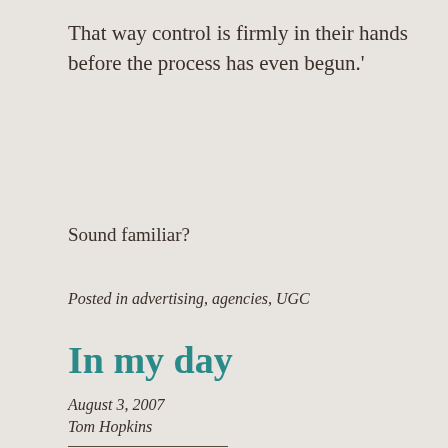That way control is firmly in their hands before the process has even begun.'
Sound familiar?
Posted in advertising, agencies, UGC
In my day
August 3, 2007
Tom Hopkins
[Figure (photo): Photo of a person against a red background, partially visible at bottom of page]